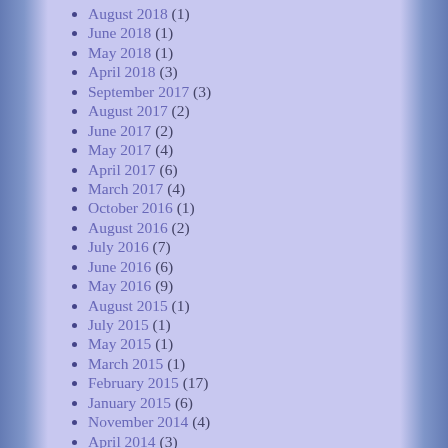August 2018 (1)
June 2018 (1)
May 2018 (1)
April 2018 (3)
September 2017 (3)
August 2017 (2)
June 2017 (2)
May 2017 (4)
April 2017 (6)
March 2017 (4)
October 2016 (1)
August 2016 (2)
July 2016 (7)
June 2016 (6)
May 2016 (9)
August 2015 (1)
July 2015 (1)
May 2015 (1)
March 2015 (1)
February 2015 (17)
January 2015 (6)
November 2014 (4)
April 2014 (3)
March 2014 (11)
February 2014 (6)